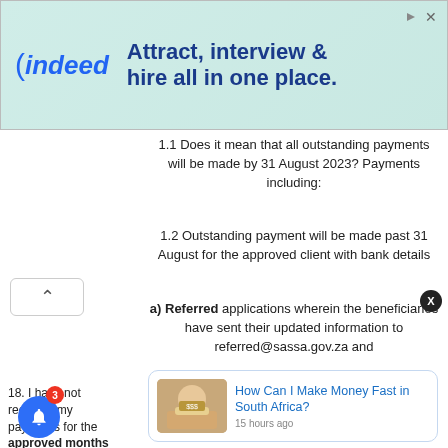[Figure (screenshot): Indeed advertisement banner: 'Attract, interview & hire all in one place.']
1.1 Does it mean that all outstanding payments will be made by 31 August 2023? Payments including:
1.2 Outstanding payment will be made past 31 August for the approved client with bank details
a) Referred applications wherein the beneficiaries have sent their updated information to referred@sassa.gov.za and
18. I have not received my payments for the approved months
[Figure (screenshot): Recommended article card: 'How Can I Make Money Fast in South Africa?' 15 hours ago]